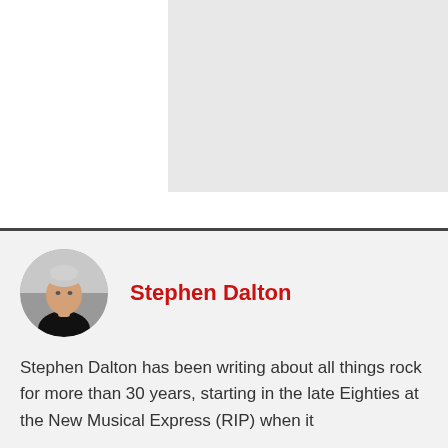[Figure (photo): A light gray rectangular image placeholder occupying the upper right portion of the page.]
[Figure (photo): Circular black and white portrait photo of Stephen Dalton, a man with light hair, outdoors near water.]
Stephen Dalton
Stephen Dalton has been writing about all things rock for more than 30 years, starting in the late Eighties at the New Musical Express (RIP) when it